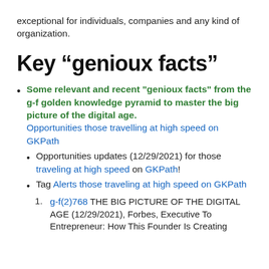exceptional for individuals, companies and any kind of organization.
Key “genioux facts”
Some relevant and recent "genioux facts" from the g-f golden knowledge pyramid to master the big picture of the digital age. Opportunities those travelling at high speed on GKPath
Opportunities updates (12/29/2021) for those traveling at high speed on GKPath!
Tag Alerts those traveling at high speed on GKPath
g-f(2)768 THE BIG PICTURE OF THE DIGITAL AGE (12/29/2021), Forbes, Executive To Entrepreneur: How This Founder Is Creating